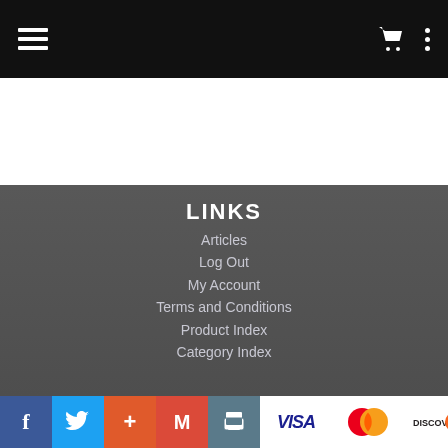Navigation bar with menu icon, cart icon, and options icon
LINKS
Articles
Log Out
My Account
Terms and Conditions
Product Index
Category Index
Social and payment icons: Facebook, Twitter, Google+, Gmail, Print, VISA, MasterCard, DISCOVER